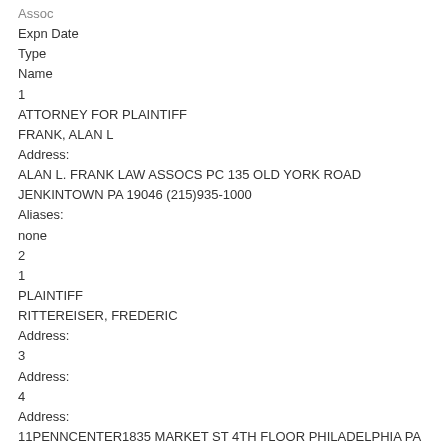Assoc
Expn Date
Type
Name
1
ATTORNEY FOR PLAINTIFF
FRANK, ALAN L
Address:
ALAN L. FRANK LAW ASSOCS PC 135 OLD YORK ROAD JENKINTOWN PA 19046 (215)935-1000
Aliases:
none
2
1
PLAINTIFF
RITTEREISER, FREDERIC
Address:
3
Address:
4
Address:
11PENNCENTER1835 MARKET ST 4TH FLOOR PHILADELPHIA PA 19103